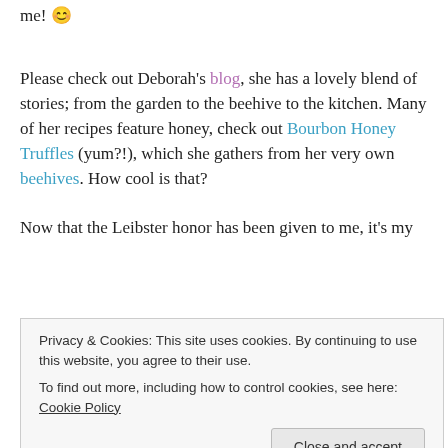me! 😊
Please check out Deborah's blog, she has a lovely blend of stories; from the garden to the beehive to the kitchen. Many of her recipes feature honey, check out Bourbon Honey Truffles (yum?!), which she gathers from her very own beehives. How cool is that?
Now that the Leibster honor has been given to me, it's my
Privacy & Cookies: This site uses cookies. By continuing to use this website, you agree to their use. To find out more, including how to control cookies, see here: Cookie Policy
Close and accept
1) Domestic Diva, M.D.– This is a truly funny blog written